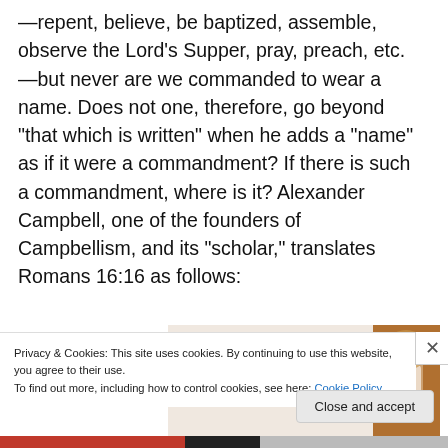—repent, believe, be baptized, assemble, observe the Lord's Supper, pray, preach, etc.—but never are we commanded to wear a name. Does not one, therefore, go beyond “that which is written” when he adds a “name” as if it were a commandment? If there is such a commandment, where is it? Alexander Campbell, one of the founders of Campbellism, and its “scholar,” translates Romans 16:16 as follows:
[Figure (photo): Advertisement banner with text 'Let's get started' on a light peach background, with a photo of hands holding a phone on the right side]
Privacy & Cookies: This site uses cookies. By continuing to use this website, you agree to their use.
To find out more, including how to control cookies, see here: Cookie Policy
Close and accept